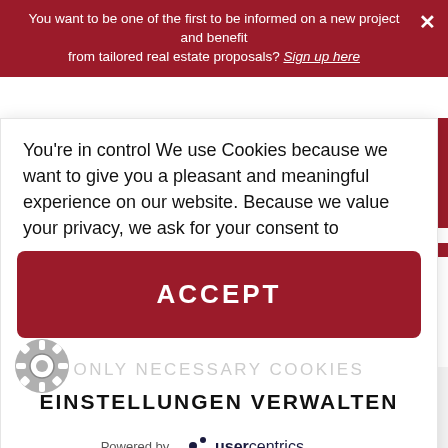You want to be one of the first to be informed on a new project and benefit from tailored real estate proposals? Sign up here
You're in control We use Cookies because we want to give you a pleasant and meaningful experience on our website. Because we value your privacy, we ask for your consent to
ACCEPT
ONLY NECESSARY COOKIES
EINSTELLUNGEN VERWALTEN
Powered by usercentrics
ANDENBERG-BERLIN.COM +49 30 233 20 39 80 MO-FR: 9AM - 6PM